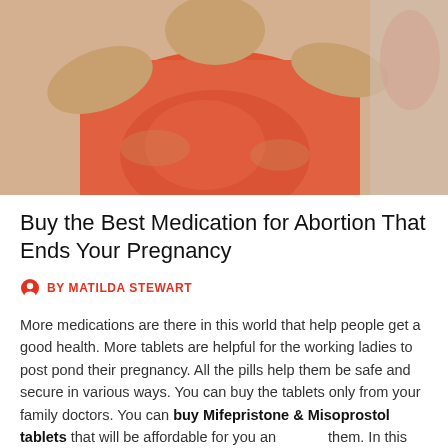[Figure (photo): Photo of a pregnant woman in an orange top with hands resting on belly, cropped to show torso area]
Buy the Best Medication for Abortion That Ends Your Pregnancy
BY MATILDA STEWART
More medications are there in this world that help people get a good health. More tablets are helpful for the working ladies to post pond their pregnancy. All the pills help them be safe and secure in various ways. You can buy the tablets only from your family doctors. You can buy Mifepristone & Misoprostol tablets that will be affordable for you and them. In this content, you will learn about this tablet in detail, whether it is safe and how it looks. After knowing this, you can use it with the doctor's prior advice that has more care for your health. You should not take any